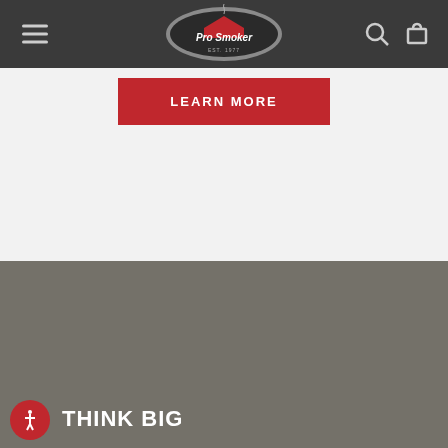Pro Smoker navigation bar with logo, hamburger menu, search and cart icons
[Figure (logo): Pro Smoker oval logo with red roof icon and EST. 1977 text on dark background]
LEARN MORE
[Figure (photo): Gray/taupe colored background section]
THINK BIG